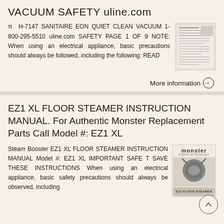VACUUM SAFETY uline.com
π H-7147 SANITAIRE EON QUIET CLEAN VACUUM 1-800-295-5510 uline.com SAFETY PAGE 1 OF 9 NOTE: When using an electrical appliance, basic precautions should always be followed, including the following: READ
[Figure (other): Thumbnail image of a document page - vacuum safety manual]
More information →
EZ1 XL FLOOR STEAMER INSTRUCTION MANUAL. For Authentic Monster Replacement Parts Call Model #: EZ1 XL
Steam Booster EZ1 XL FLOOR STEAMER INSTRUCTION MANUAL Model #: EZ1 XL IMPORTANT SAFE T SAVE THESE INSTRUCTIONS When using an electrical appliance, basic safety precautions should always be observed, including
[Figure (other): Monster brand EZ1 XL Floor Steamer product image with logo]